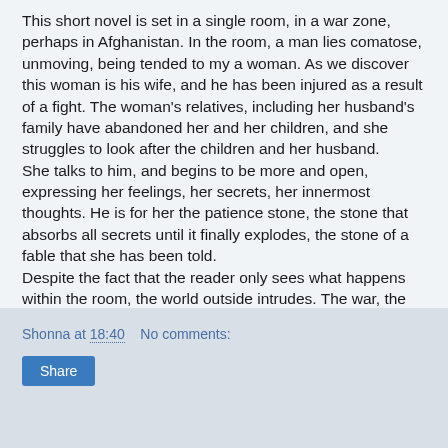This short novel is set in a single room, in a war zone, perhaps in Afghanistan. In the room, a man lies comatose, unmoving, being tended to my a woman. As we discover this woman is his wife, and he has been injured as a result of a fight. The woman's relatives, including her husband's family have abandoned her and her children, and she struggles to look after the children and her husband.
She talks to him, and begins to be more and open, expressing her feelings, her secrets, her innermost thoughts. He is for her the patience stone, the stone that absorbs all secrets until it finally explodes, the stone of a fable that she has been told.
Despite the fact that the reader only sees what happens within the room, the world outside intrudes. The war, the destruction, the uncertainty all show themselves. This is a story that reveals the life of a woman in a very restrictive society, the struggles and the actions women must take to keep going.
Shonna at 18:40   No comments: